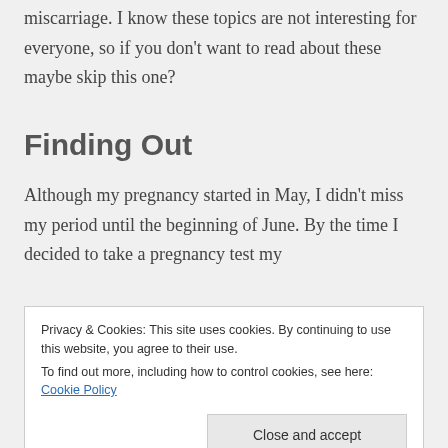miscarriage. I know these topics are not interesting for everyone, so if you don't want to read about these maybe skip this one?
Finding Out
Although my pregnancy started in May, I didn't miss my period until the beginning of June. By the time I decided to take a pregnancy test my
Privacy & Cookies: This site uses cookies. By continuing to use this website, you agree to their use.
To find out more, including how to control cookies, see here: Cookie Policy
with dread. I felt unprepared. I felt like I could